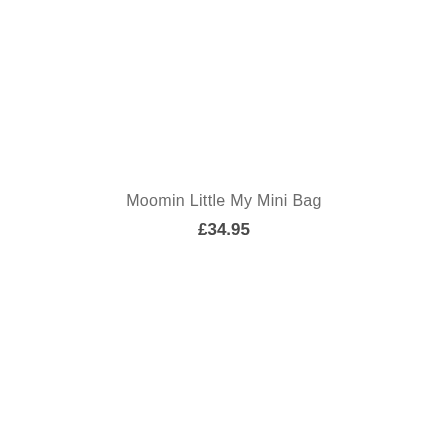Moomin Little My Mini Bag
£34.95